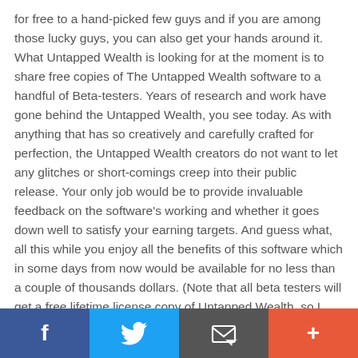for free to a hand-picked few guys and if you are among those lucky guys, you can also get your hands around it. What Untapped Wealth is looking for at the moment is to share free copies of The Untapped Wealth software to a handful of Beta-testers. Years of research and work have gone behind the Untapped Wealth, you see today. As with anything that has so creatively and carefully crafted for perfection, the Untapped Wealth creators do not want to let any glitches or short-comings creep into their public release. Your only job would be to provide invaluable feedback on the software's working and whether it goes down well to satisfy your earning targets. And guess what, all this while you enjoy all the benefits of this software which in some days from now would be available for no less than a couple of thousands dollars. (Note that all beta testers will get a free lifetime license copy of Untapped Wealth, so I
[Figure (infographic): Social sharing bar with four buttons: Facebook (blue, f icon), Twitter (light blue, bird icon), Email (dark gray, envelope icon), and Plus/Add (orange-red, + icon)]